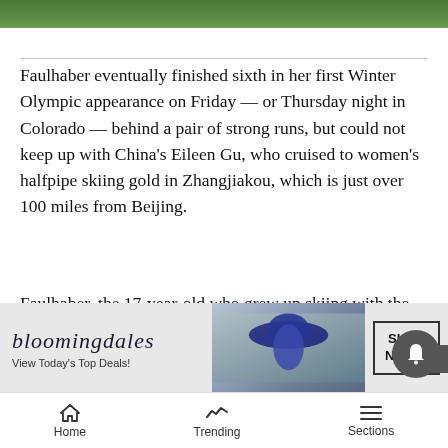[Figure (photo): Green grass/field image strip at top of page]
Faulhaber eventually finished sixth in her first Winter Olympic appearance on Friday — or Thursday night in Colorado — behind a pair of strong runs, but could not keep up with China's Eileen Gu, who cruised to women's halfpipe skiing gold in Zhangjiakou, which is just over 100 miles from Beijing.
Faulhaber, the 17-year-old who grew up skiing with the Aspen Valley Ski and Snowboard Club and made her X Games debut only last month, briefly held down the top spot early in the first round behind an opening-run score of 85.25, which would prove to be her best result. [continues below ad] secon...
[Figure (photo): Bloomingdale's advertisement banner: 'bloomingdales — View Today's Top Deals!' with woman in blue hat and 'SHOP NOW >' button]
Home   Trending   Sections